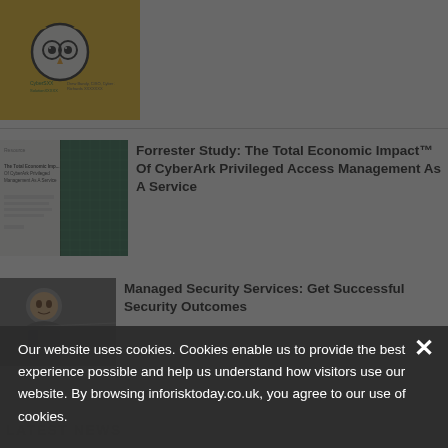[Figure (illustration): Book or resource thumbnail with yellow background featuring an owl-face cartoon character with glasses]
[Figure (photo): Forrester Study resource thumbnail showing a green and blue building exterior/glass facade]
Forrester Study: The Total Economic Impact™ Of CyberArk Privileged Access Management As A Service
[Figure (photo): Managed Security Services resource thumbnail showing a man in a suit]
Managed Security Services: Get Successful Security Outcomes
LATEST NEWS
Our website uses cookies. Cookies enable us to provide the best experience possible and help us understand how visitors use our website. By browsing inforisktoday.co.uk, you agree to our use of cookies.